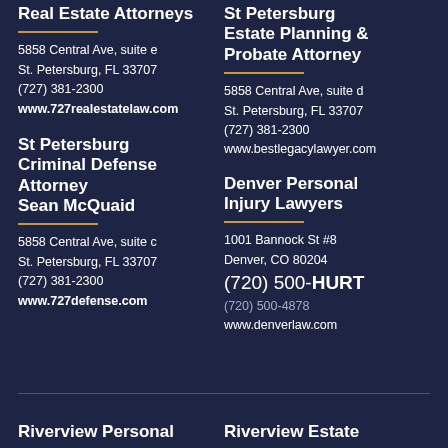Real Estate Attorneys
5858 Central Ave, suite e
St. Petersburg, FL 33707
(727) 381-2300
www.727realestatelaw.com
St Petersburg Criminal Defense Attorney Sean McQuaid
5858 Central Ave, suite c
St. Petersburg, FL 33707
(727) 381-2300
www.727defense.com
St Petersburg Estate Planning & Probate Attorney
5858 Central Ave, suite d
St. Petersburg, FL 33707
(727) 381-2300
www.bestlegacylawyer.com
Denver Personal Injury Lawyers
1001 Bannock St #8
Denver, CO 80204
(720) 500-HURT
(720) 500-4878
www.denverlaw.com
Riverview Personal
Riverview Estate